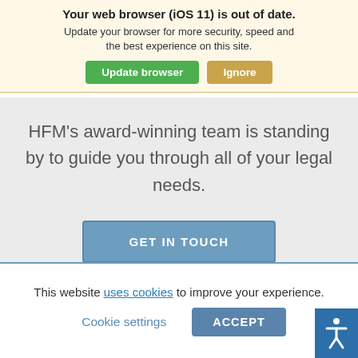[Figure (screenshot): Browser update notification banner with yellow background, showing 'Your web browser (iOS 11) is out of date.' message with 'Update browser' green button and 'Ignore' tan/gold button]
[Figure (infographic): Law firm website background watermark text: HIGGS FLETCHER MACK and LOOKING FOR A TRUSTED LEGAL PARTNER?]
HFM's award-winning team is standing by to guide you through all of your legal needs.
[Figure (infographic): GET IN TOUCH button in steel blue]
[Figure (infographic): Blue accessibility icon button on right side]
This website uses cookies to improve your experience.
Cookie settings   ACCEPT